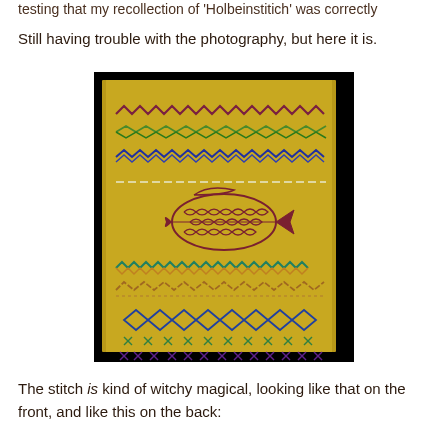testing that my recollection of 'Holbeinstitich' was correctly
Still having trouble with the photography, but here it is.
[Figure (photo): A yellow fabric sampler with multiple decorative embroidery stitches arranged in horizontal bands: zigzag stitches in red/purple at top, green herringbone, blue cross/wave stitches, a white running stitch row, a large embroidered fish (skeleton/outline style) in dark red/maroon in the center, then more decorative stitch bands in teal/multi-color, a knotted/textured row, a blue diamond lattice pattern with green cross stitches beneath, and a bottom row of cross stitches. The fabric is photographed against a black background.]
The stitch is kind of witchy magical, looking like that on the front, and like this on the back: